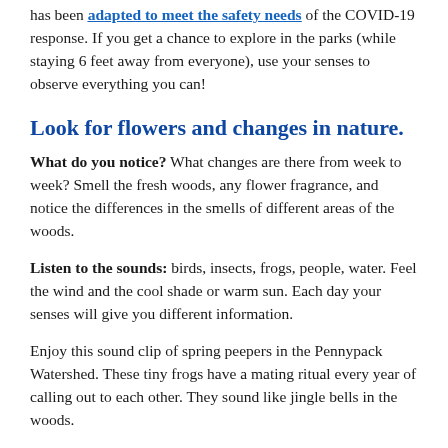has been adapted to meet the safety needs of the COVID-19 response. If you get a chance to explore in the parks (while staying 6 feet away from everyone), use your senses to observe everything you can!
Look for flowers and changes in nature.
What do you notice? What changes are there from week to week? Smell the fresh woods, any flower fragrance, and notice the differences in the smells of different areas of the woods.
Listen to the sounds: birds, insects, frogs, people, water. Feel the wind and the cool shade or warm sun. Each day your senses will give you different information.
Enjoy this sound clip of spring peepers in the Pennypack Watershed. These tiny frogs have a mating ritual every year of calling out to each other. They sound like jingle bells in the woods.